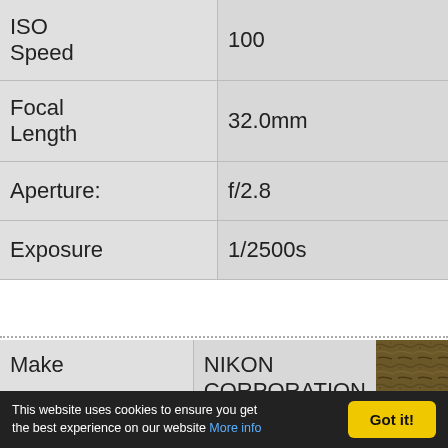| Field | Value |
| --- | --- |
| ISO Speed | 100 |
| Focal Length | 32.0mm |
| Aperture: | f/2.8 |
| Exposure | 1/2500s |
| Make | Value |
| --- | --- |
| Make | NIKON CORPORATION |
This website uses cookies to ensure you get the best experience on our website More info
Got it!